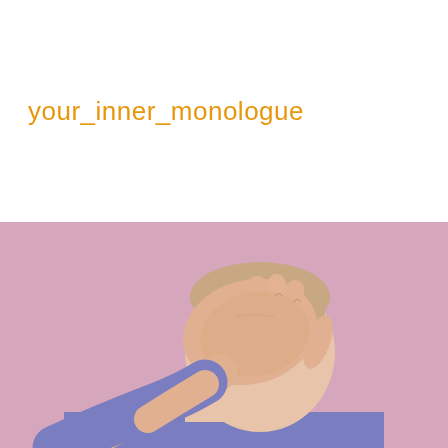your_inner_monologue
[Figure (photo): A young man with short hair smiling with his hand covering most of his face (palm over eyes and nose), wearing a blue/purple knit sweater, photographed against a pink background.]